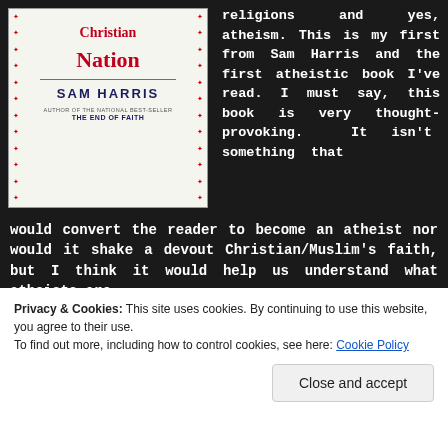[Figure (photo): Book cover of 'Letter to a Christian Nation' by Sam Harris, white cover with red title text, author name in dark blue, mentions 'The End of Faith' subtitle]
religions and yes, atheism. This is my first from Sam Harris and the first atheistic book I've read. I must say, this book is very thought-provoking. It isn't something that would convert the reader to become an atheist nor would it shake a devout Christian/Muslim's faith, but I think it would help us understand what atheists are
Privacy & Cookies: This site uses cookies. By continuing to use this website, you agree to their use.
To find out more, including how to control cookies, see here: Cookie Policy
Close and accept